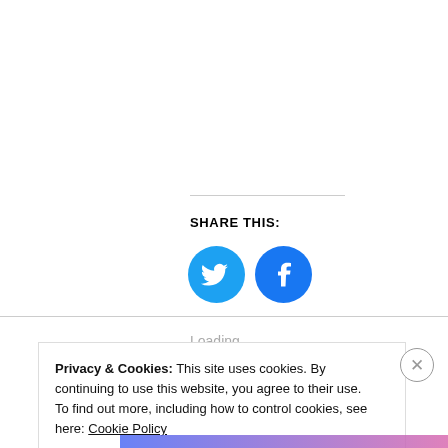SHARE THIS:
[Figure (illustration): Two circular social media share buttons: Twitter (blue bird icon) and Facebook (blue 'f' icon)]
Loading...
Privacy & Cookies: This site uses cookies. By continuing to use this website, you agree to their use. To find out more, including how to control cookies, see here: Cookie Policy
Close and accept